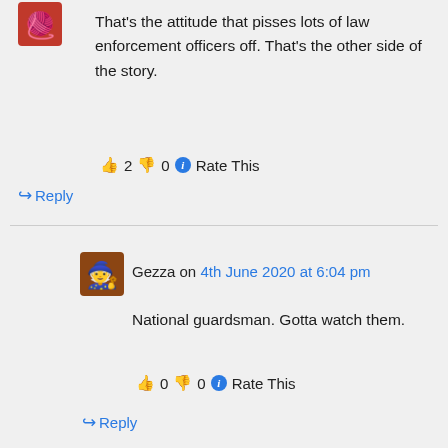That’s the attitude that pisses lots of law enforcement officers off. That’s the other side of the story.
👍 2 👎 0 ℹ Rate This
↪ Reply
Gezza on 4th June 2020 at 6:04 pm
National guardsman. Gotta watch them.
👍 0 👎 0 ℹ Rate This
↪ Reply